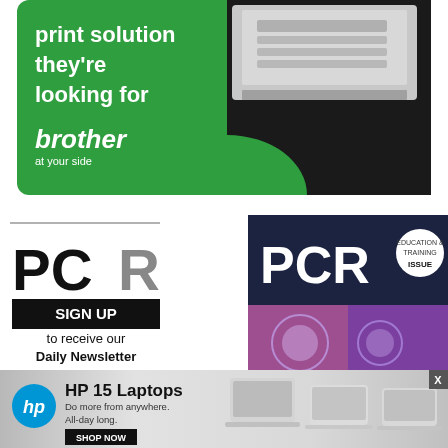[Figure (illustration): Brother printer advertisement with green background showing 'print solution they're looking for' text, Brother logo with 'at your side' tagline, and a photo of a large office printer on the right side]
[Figure (illustration): PCR magazine sign-up advertisement showing PCR logo in large bold letters, a black SIGN UP button, text 'to receive our Daily Newsletter', alongside a PCR magazine cover image with 'Education & Training Issue' badge and purple/pink tech imagery]
[Figure (illustration): HP advertisement banner with gray gradient background showing HP logo, 'HP 15 Laptops' heading, 'Do more from anywhere. All-day long.' tagline, SHOP NOW button, and images of three silver HP laptops. An X close button is visible in the top right corner.]